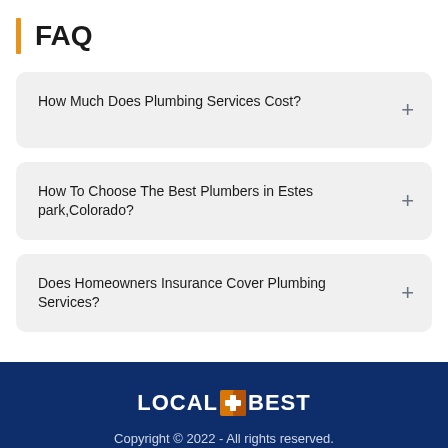FAQ
How Much Does Plumbing Services Cost?
How To Choose The Best Plumbers in Estes park,Colorado?
Does Homeowners Insurance Cover Plumbing Services?
[Figure (logo): LocalBest logo with orange house/plus icon between LOCAL and BEST text]
Copyright © 2022 - All rights reserved.
Home
Sitemap